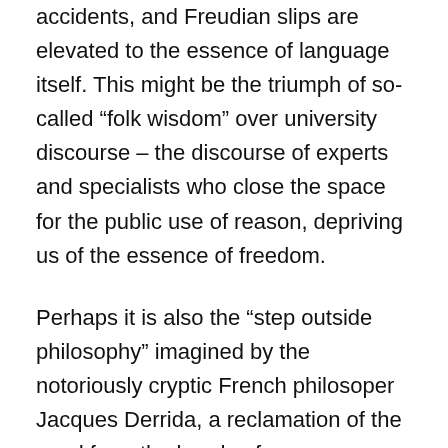accidents, and Freudian slips are elevated to the essence of language itself. This might be the triumph of so-called “folk wisdom” over university discourse – the discourse of experts and specialists who close the space for the public use of reason, depriving us of the essence of freedom.
Perhaps it is also the “step outside philosophy” imagined by the notoriously cryptic French philosoper Jacques Derrida, a reclamation of the word from the hands of technoscience, hierarchy, progress, and any narrative which impresses upon people the absurd notion that one needs a certain level of expertise before they can make true utterances. We might